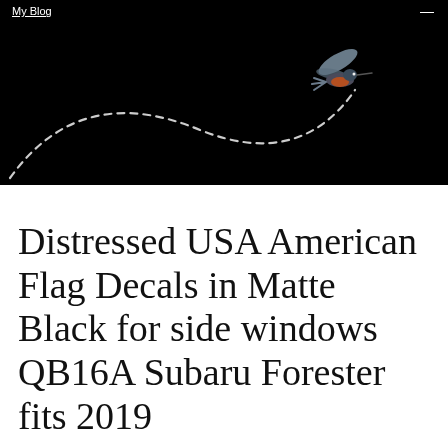My Blog
[Figure (photo): Black background hero image with a hummingbird in flight on the right side, with a white dashed curved arc path trailing from the lower left to the bird on the upper right.]
Distressed USA American Flag Decals in Matte Black for side windows QB16A Subaru Forester fits 2019